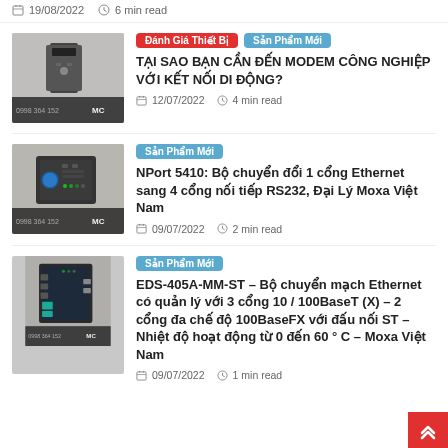19/08/2022  6 min read
[Figure (photo): Hand holding an industrial modem device, MC branded, product thumbnail]
Đánh Giá Thiết Bị | Sản Phẩm Mới
TẠI SAO BẠN CẦN ĐẾN MODEM CÔNG NGHIỆP VỚI KẾT NỐI DI ĐỘNG?
12/07/2022  4 min read
[Figure (photo): NPort 5410 device photo, MC branded, product thumbnail]
Sản Phẩm Mới
NPort 5410: Bộ chuyển đổi 1 cổng Ethernet sang 4 cổng nối tiếp RS232, Đại Lý Moxa Việt Nam
09/07/2022  2 min read
[Figure (photo): EDS-405A-MM-ST device photo, MC branded, product thumbnail]
Sản Phẩm Mới
EDS-405A-MM-ST – Bộ chuyển mạch Ethernet có quản lý với 3 cổng 10 / 100BaseT (X) – 2 cổng đa chế độ 100BaseFX với đấu nối ST – Nhiệt độ hoạt động từ 0 đến 60 ° C – Moxa Việt Nam
09/07/2022  1 min read